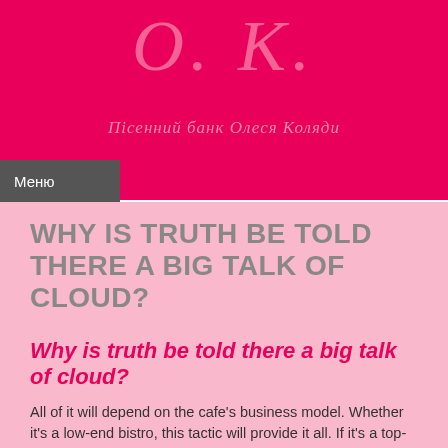О. К.
Пісенний банк Олеся Коляди
Меню
WHY IS TRUTH BE TOLD THERE A BIG TALK OF CLOUD?
Why is truth be told there a big talk of cloud?
All of it will depend on the cafe's business model. Whether it's a low-end bistro, this tactic will provide it all. If it's a top-end bistro, presupposing $1.50...